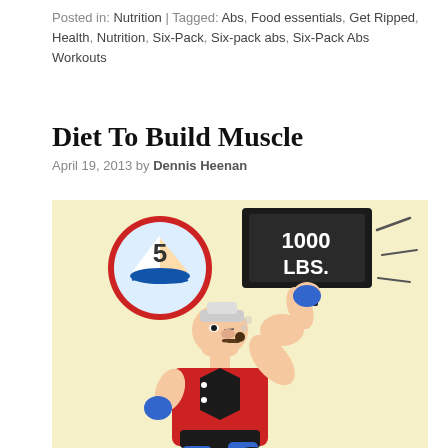Posted in: Nutrition | Tagged: Abs, Food essentials, Get Ripped, Health, Nutrition, Six-Pack, Six-pack abs, Six-Pack Abs Workouts
Diet To Build Muscle
April 19, 2013 by Dennis Heenan
[Figure (illustration): Cartoon illustration of Popeye the Sailor Man holding up a 1000 LBS weight with one arm, wearing his classic sailor outfit. A circular emblem with the number 5 and a sailboat is visible in the upper left of the image. The background is pale yellow.]